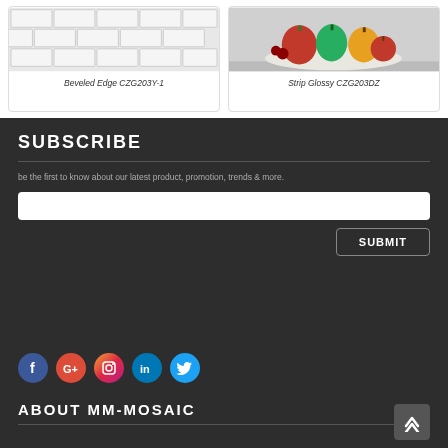[Figure (photo): White beveled subway tile mosaic pattern]
Beveled Edge CZG203Y-1
[Figure (photo): Bowl of colorful vegetables and fruits including red and green peppers, apples on a plate]
Strip Glossy CZG203DZ
SUBSCRIBE
be the first to know about our latest product, promotion, trends & more.
[Figure (infographic): Social media icons: Facebook, Google+, Instagram, LinkedIn, Twitter]
ABOUT MM-MOSAIC